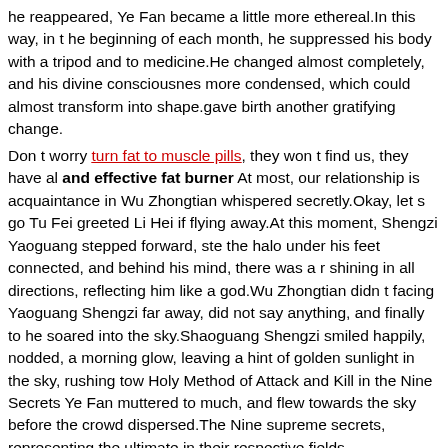he reappeared, Ye Fan became a little more ethereal.In this way, in the beginning of each month, he suppressed his body with a tripod and to medicine.He changed almost completely, and his divine consciousness more condensed, which could almost transform into shape.gave birth another gratifying change.
Don t worry turn fat to muscle pills, they won t find us, they have al and effective fat burner At most, our relationship is acquaintance in Wu Zhongtian whispered secretly.Okay, let s go Tu Fei greeted Li Hei if flying away.At this moment, Shengzi Yaoguang stepped forward, ste the halo under his feet connected, and behind his mind, there was a r shining in all directions, reflecting him like a god.Wu Zhongtian didn t facing Yaoguang Shengzi far away, did not say anything, and finally to he soared into the sky.Shaoguang Shengzi smiled happily, nodded, a morning glow, leaving a hint of golden sunlight in the sky, rushing tow Holy Method of Attack and Kill in the Nine Secrets Ye Fan muttered to much, and flew towards the sky before the crowd dispersed.The Nine supreme secrets, representing the ultimate in their respective fields.
Even the powerful weapons became powder in the first time. Perfect Suddenly how long can you take phentermine safely, a big golden the air, hitting the sky and the ground all at once, shattering the Taiyin